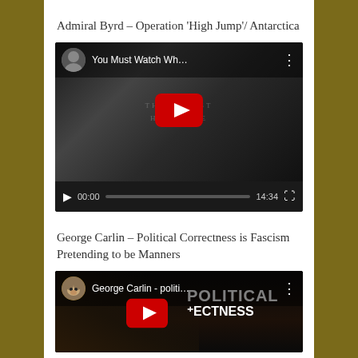Admiral Byrd – Operation ‘High Jump’/ Antarctica
[Figure (screenshot): YouTube video embed showing 'You Must Watch Wh...' with play button and controls showing 00:00 / 14:34]
George Carlin – Political Correctness is Fascism Pretending to be Manners
[Figure (screenshot): YouTube video embed showing 'George Carlin - politi...' with play button and POLITICAL CORRECTNESS text overlay]